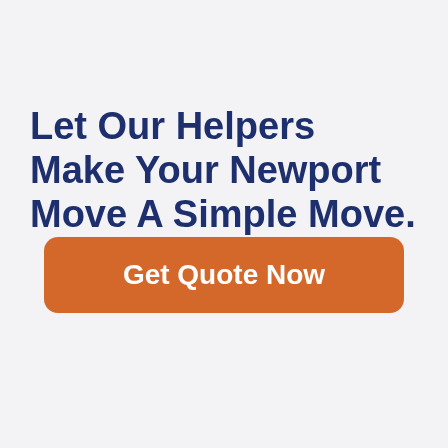Let Our Helpers Make Your Newport Move A Simple Move.
Get Quote Now